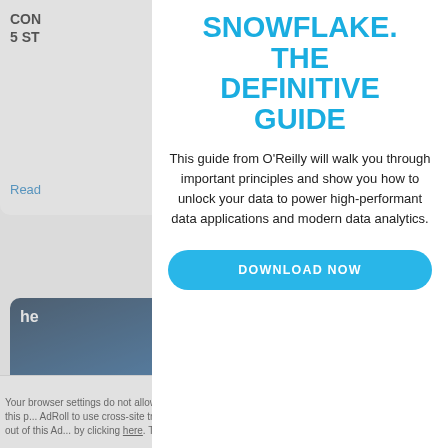CON... 5 ST...
Read
SNOWFLAKE. THE DEFINITIVE GUIDE
This guide from O'Reilly will walk you through important principles and show you how to unlock your data to power high-performant data applications and modern data analytics.
DOWNLOAD NOW
[Figure (screenshot): Screenshot of a webpage with a modal/popup overlay advertising the 'Snowflake: The Definitive Guide' from O'Reilly, with a download button. Background shows partially visible content cards.]
Accept a...
Your browser settings do not allow cross-site tracking for advertising. Click on this p... AdRoll to use cross-site tracking to tailor ads to you. Learn more or opt out of this Ad... by clicking here. This message only appears once.
MOVED FROM ON-PREM TO THE CLOUD IN